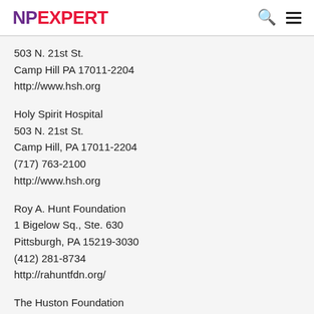NP EXPERT
503 N. 21st St.
Camp Hill PA 17011-2204
http://www.hsh.org
Holy Spirit Hospital
503 N. 21st St.
Camp Hill, PA 17011-2204
(717) 763-2100
http://www.hsh.org
Roy A. Hunt Foundation
1 Bigelow Sq., Ste. 630
Pittsburgh, PA 15219-3030
(412) 281-8734
http://rahuntfdn.org/
The Huston Foundation
900 W. Valley Rd., Ste. 204